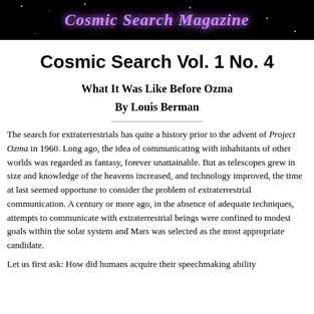Cosmic Search Magazine
Cosmic Search Vol. 1 No. 4
What It Was Like Before Ozma
By Louis Berman
The search for extraterrestrials has quite a history prior to the advent of Project Ozma in 1960. Long ago, the idea of communicating with inhabitants of other worlds was regarded as fantasy, forever unattainable. But as telescopes grew in size and knowledge of the heavens increased, and technology improved, the time at last seemed opportune to consider the problem of extraterrestrial communication. A century or more ago, in the absence of adequate techniques, attempts to communicate with extraterrestrial beings were confined to modest goals within the solar system and Mars was selected as the most appropriate candidate.
Let us first ask: How did humans acquire their speechmaking ability